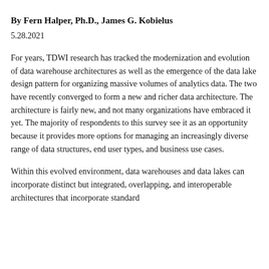…
By Fern Halper, Ph.D., James G. Kobielus
5.28.2021
For years, TDWI research has tracked the modernization and evolution of data warehouse architectures as well as the emergence of the data lake design pattern for organizing massive volumes of analytics data. The two have recently converged to form a new and richer data architecture. The architecture is fairly new, and not many organizations have embraced it yet. The majority of respondents to this survey see it as an opportunity because it provides more options for managing an increasingly diverse range of data structures, end user types, and business use cases.
Within this evolved environment, data warehouses and data lakes can incorporate distinct but integrated, overlapping, and interoperable architectures that incorporate standard